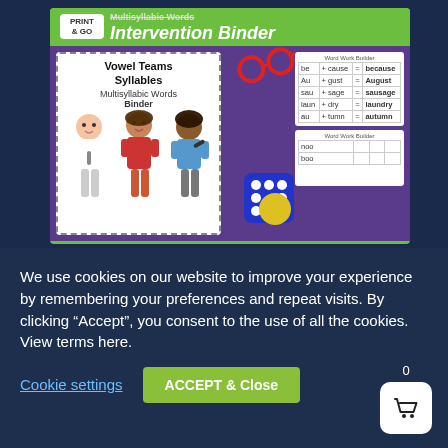[Figure (illustration): Multisyllabic Words Intervention Binder product image showing: green banner with 'PRINT & GO' badge and title 'Multisyllabic Words Intervention Binder'; purple background panel with a white dashed-border card showing 'Vowel Teams Syllables Multisyllabic Words Binder' with three cartoon children; red glasses and blue dice props; and a white card with word-building table (be+cause=because, Au+gust=August, sau+sage=sausage, laun+dry=laundry, au+tumn=autumn) and a smaller card below it]
We use cookies on our website to improve your experience by remembering your preferences and repeat visits. By clicking “Accept”, you consent to the use of all the cookies. View terms here.
Cookie settings
ACCEPT & Close